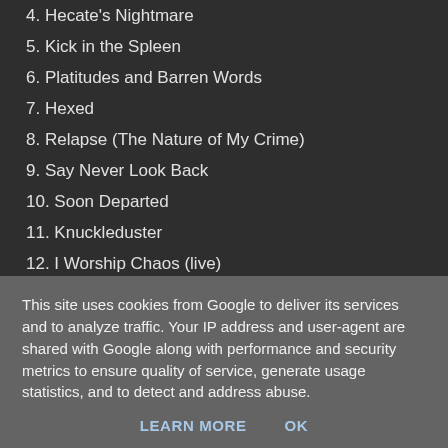4. Hecate's Nightmare
5. Kick in the Spleen
6. Platitudes and Barren Words
7. Hexed
8. Relapse (The Nature of My Crime)
9. Say Never Look Back
10. Soon Departed
11. Knuckleduster
12. I Worship Chaos (live)
13. Morrigan (live)
14. Knuckleduster (remix)
This site uses cookies from Google to deliver its services and to analyze traffic. Your IP address and user-agent are shared with Google along with performance and security metrics to ensure quality of service, generate usage statistics, and to detect and address abuse.
LEARN MORE   OK